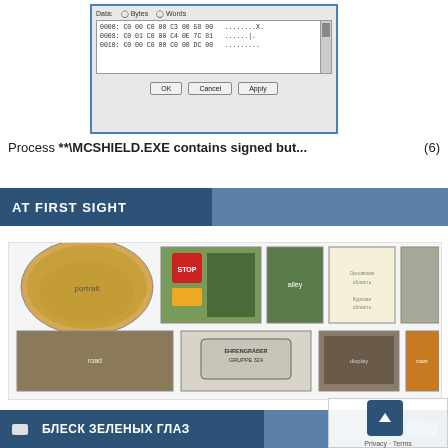[Figure (screenshot): A software dialog box showing hex data editor with bytes/words toggle, hex values (0000: C0 00 C0 00 C3 00 58 00, 0008: C0 01 C0 00 C4 0E 7C 81, 0010: C0 00 C0 00 C0 00 DC 00), OK/Cancel/Apply buttons, with blue border.]
Process **\MCSHIELD.EXE contains signed but... (6)
AT FIRST SIGHT
[Figure (photo): A collage of multiple photos: oval portrait of a woman in front of yellow building, sign post with STOP and various signs, person in green alley, hand-drawn map with Russian text (Орловская область, Курская область), building with crowd, dirt road with vehicle and barrels, ornate sign reading EHRENGRÄBER GRUPPE 324, display case with figurines, woman in orange-lit room with shelves.]
▶ БЛЕСК ЗЕЛЕНЫХ ГЛАЗ